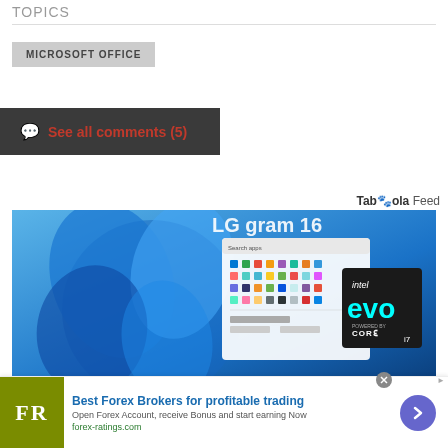TOPICS
MICROSOFT OFFICE
See all comments (5)
Taboola Feed
[Figure (photo): LG gram 16 laptop showing Windows 11 Start menu on screen with Intel Evo Core i7 badge]
[Figure (photo): Advertisement banner: Best Forex Brokers for profitable trading. FR logo in olive green. forex-ratings.com]